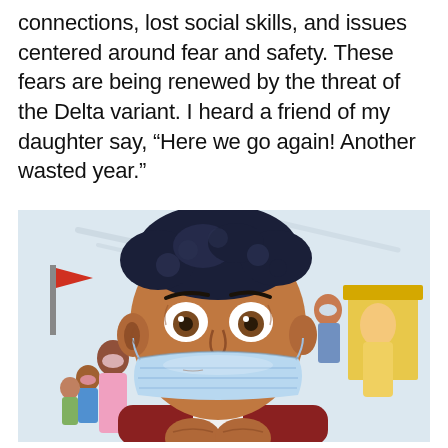connections, lost social skills, and issues centered around fear and safety. These fears are being renewed by the threat of the Delta variant. I heard a friend of my daughter say, “Here we go again! Another wasted year.”
[Figure (illustration): Comic-style illustration of a young person wearing a blue surgical mask, looking upward with wide, worried eyes. They have dark curly hair and are wearing a dark red jacket. In the background are other masked figures including children and adults in an outdoor setting.]